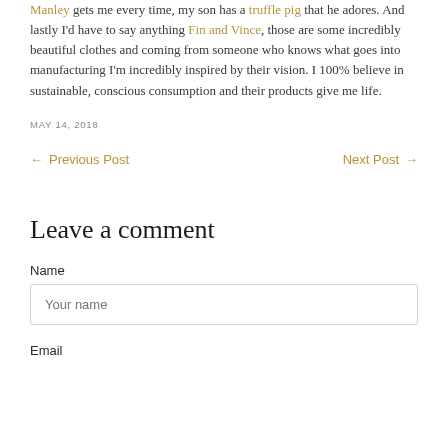Manley gets me every time, my son has a truffle pig that he adores. And lastly I'd have to say anything Fin and Vince, those are some incredibly beautiful clothes and coming from someone who knows what goes into manufacturing I'm incredibly inspired by their vision. I 100% believe in sustainable, conscious consumption and their products give me life.
MAY 14, 2018
← Previous Post   Next Post →
Leave a comment
Name
Your name
Email